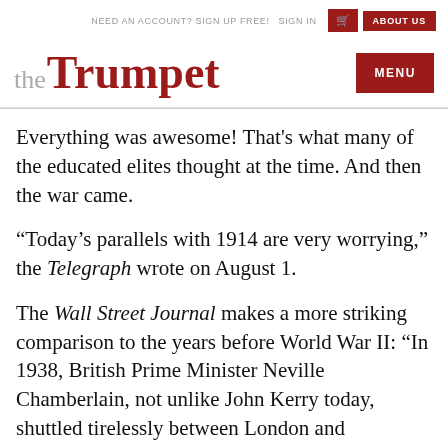NEED AN ACCOUNT? SIGN UP FREE!  SIGN IN  [basket icon]  ABOUT US
the Trumpet
MENU
Everything was awesome! That's what many of the educated elites thought at the time. And then the war came.
“Today’s parallels with 1914 are very worrying,” the Telegraph wrote on August 1.
The Wall Street Journal makes a more striking comparison to the years before World War II: “In 1938, British Prime Minister Neville Chamberlain, not unlike John Kerry today, shuttled tirelessly between London and